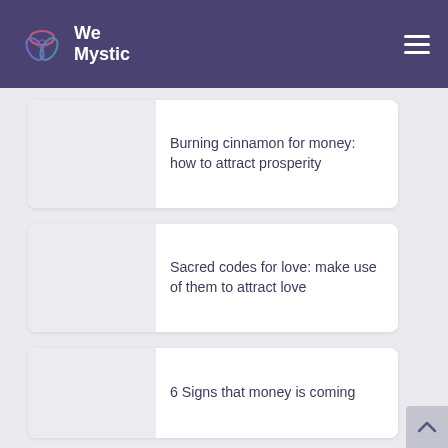WeMystic
Burning cinnamon for money: how to attract prosperity
Sacred codes for love: make use of them to attract love
6 Signs that money is coming